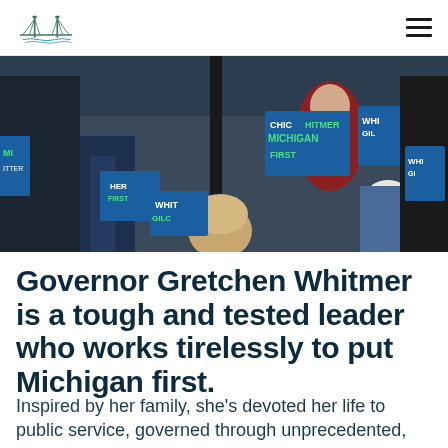Whitmer for Governor logo and navigation
[Figure (photo): Crowd of supporters at a political rally holding 'Michigan First' and 'Whitmer Gilchrist' campaign signs outdoors]
Governor Gretchen Whitmer is a tough and tested leader who works tirelessly to put Michigan first.
Inspired by her family, she's devoted her life to public service, governed through unprecedented, colliding